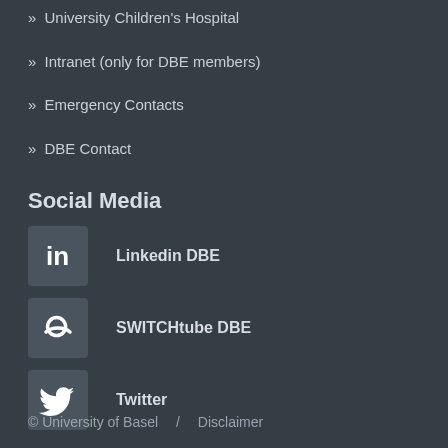» University Children's Hospital
» Intranet (only for DBE members)
» Emergency Contacts
» DBE Contact
Social Media
[Figure (logo): LinkedIn icon box with 'in' text]
Linkedin DBE
[Figure (logo): SWITCHtube link icon box]
SWITCHtube DBE
[Figure (logo): Twitter bird icon box]
Twitter
© University of Basel   /   Disclaimer